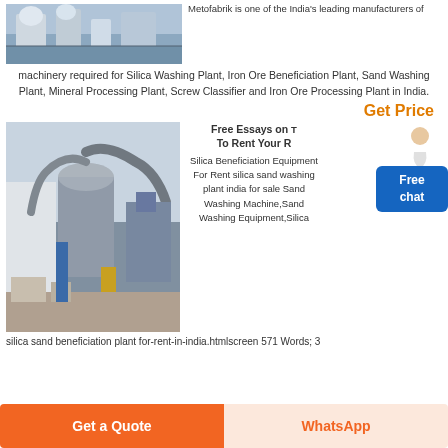[Figure (photo): Industrial machinery/manufacturing facility interior with equipment]
Metofabrik is one of the India's leading manufacturers of machinery required for Silica Washing Plant, Iron Ore Beneficiation Plant, Sand Washing Plant, Mineral Processing Plant, Screw Classifier and Iron Ore Processing Plant in India.
Get Price
[Figure (photo): Industrial processing plant exterior with large pipes and equipment]
Free Essays on To Rent Your R
Silica Beneficiation Equipment For Rent silica sand washing plant india for sale Sand Washing Machine,Sand Washing Equipment,Silica
silica sand beneficiation plant for-rent-in-india.htmlscreen 571 Words; 3
Get a Quote
WhatsApp